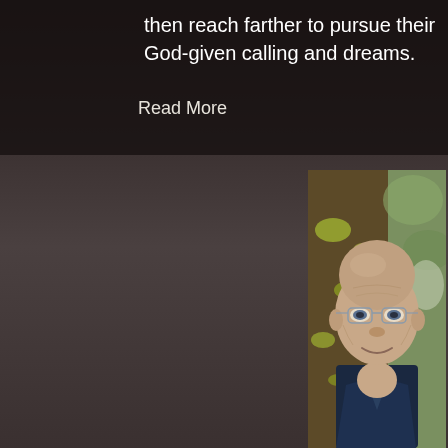then reach farther to pursue their God-given calling and dreams.
Read More
[Figure (photo): Portrait photo of an older bald man with glasses, wearing a dark blue collar shirt, smiling slightly, photographed outdoors near a tree with lichen/moss, with blurred green foliage in background.]